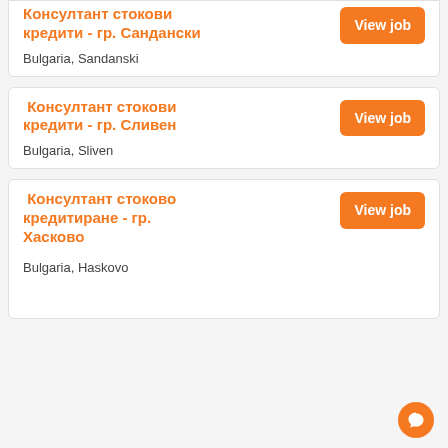Консултант стокови кредити - гр. Сандански
Bulgaria, Sandanski
Консултант стокови кредити - гр. Сливен
Bulgaria, Sliven
Консултант стоково кредитиране - гр. Хасково
Bulgaria, Haskovo